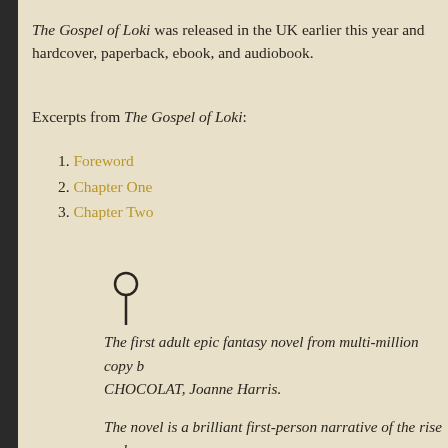The Gospel of Loki was released in the UK earlier this year and hardcover, paperback, ebook, and audiobook.
Excerpts from The Gospel of Loki:
1. Foreword
2. Chapter One
3. Chapter Two
The first adult epic fantasy novel from multi-million copy b CHOCOLAT, Joanne Harris.
The novel is a brilliant first-person narrative of the rise and retold from the point of view of the world's ultimate trickste Loki's recruitment from the underworld of Chaos, his many one-eyed master, Odin, through to his eventual betrayal of Asgard itself. Using her life-long passion for the Norse myt created a vibrant and powerful fantasy novel.